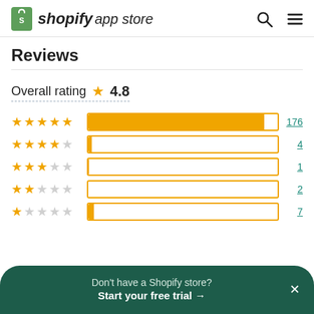[Figure (logo): Shopify App Store logo with green shopping bag icon and italic text]
Reviews
Overall rating ★ 4.8
[Figure (bar-chart): Rating distribution]
Don't have a Shopify store? Start your free trial →